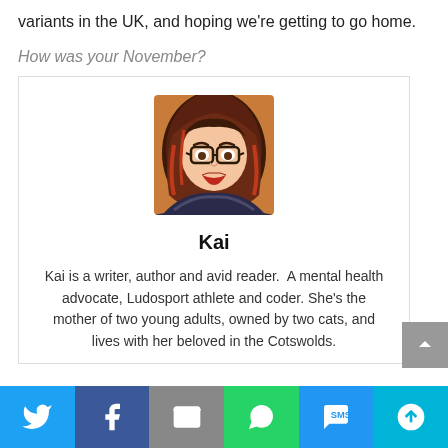variants in the UK, and hoping we're getting to go home.
How was your November?
[Figure (illustration): Illustrated avatar of Kai — a woman with long red-brown hair, round glasses, and red lipstick, wearing a dark top.]
Kai
Kai is a writer, author and avid reader.  A mental health advocate, Ludosport athlete and coder. She's the mother of two young adults, owned by two cats, and lives with her beloved in the Cotswolds.
Twitter | Facebook | Email | WhatsApp | SMS | More